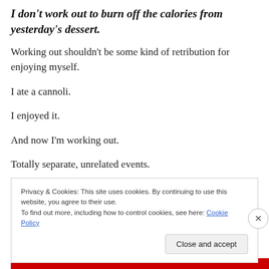I don't work out to burn off the calories from yesterday's dessert.
Working out shouldn't be some kind of retribution for enjoying myself.
I ate a cannoli.
I enjoyed it.
And now I'm working out.
Totally separate, unrelated events.
Privacy & Cookies: This site uses cookies. By continuing to use this website, you agree to their use.
To find out more, including how to control cookies, see here: Cookie Policy
Close and accept